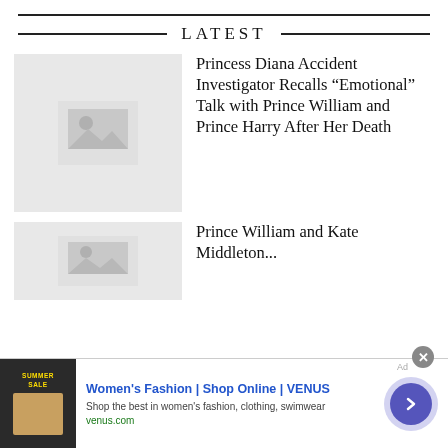LATEST
[Figure (photo): Image placeholder thumbnail for Princess Diana article]
Princess Diana Accident Investigator Recalls “Emotional” Talk with Prince William and Prince Harry After Her Death
[Figure (photo): Image placeholder thumbnail for Prince William article]
Prince William and Kate Middleton...
[Figure (infographic): Advertisement banner: Women's Fashion | Shop Online | VENUS. Shop the best in women's fashion, clothing, swimwear. venus.com]